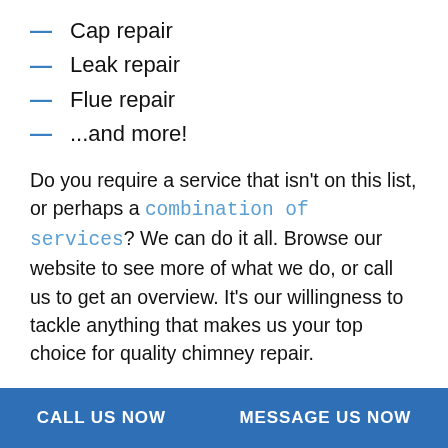— Cap repair
— Leak repair
— Flue repair
— ...and more!
Do you require a service that isn't on this list, or perhaps a combination of services? We can do it all. Browse our website to see more of what we do, or call us to get an overview. It's our willingness to tackle anything that makes us your top choice for quality chimney repair.
The Area's Leading
CALL US NOW   MESSAGE US NOW